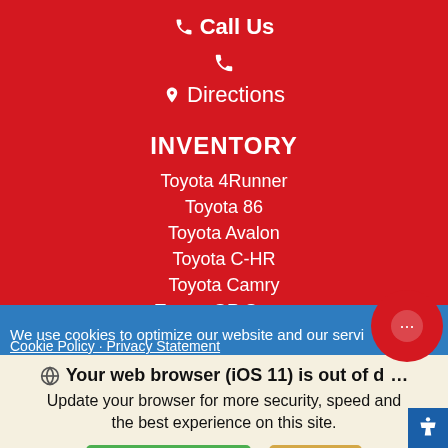Call Us
Directions
INVENTORY
Toyota 4Runner
Toyota 86
Toyota Avalon
Toyota C-HR
Toyota Camry
Toyota GR Supra
Toyota Highlander
Toyota Land Cruiser
We use cookies to optimize our website and our servi...
Cookie Policy · Privacy Statement
Your web browser (iOS 11) is out of date. Update your browser for more security, speed and the best experience on this site.